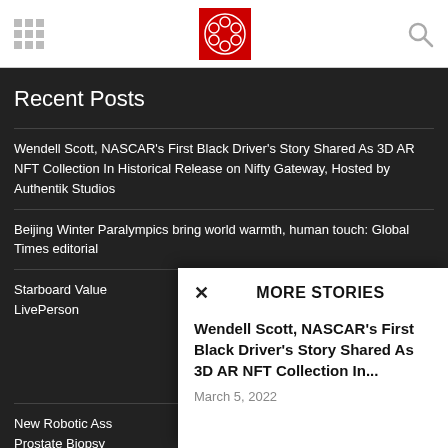CBC News header with logo and navigation
Recent Posts
Wendell Scott, NASCAR's First Black Driver's Story Shared As 3D AR NFT Collection In Historical Release on Nifty Gateway, Hosted by Authentik Studios
Beijing Winter Paralympics bring world warmth, human touch: Global Times editorial
Starboard Value LivePerson
New Robotic Ass Prostate Biopsy Clearance
Vermont Slauso local leaders and holds 60-Second Black-owned business pitch competition to celebrate Black History Month
MORE STORIES
Wendell Scott, NASCAR's First Black Driver's Story Shared As 3D AR NFT Collection In...
March 5, 2022